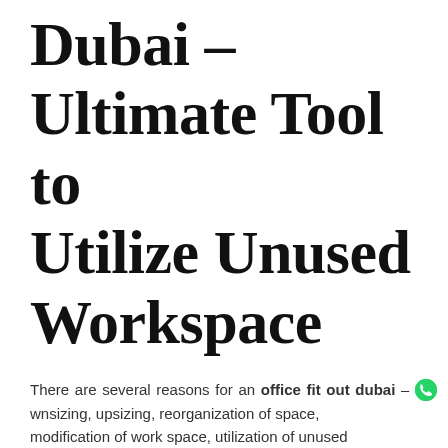Dubai – Ultimate Tool to Utilize Unused Workspace
[Figure (other): Dropdown UI element labeled CHOOSE CATEGORY with a chevron arrow on the right]
There are several reasons for an office fit out dubai – downsizing, upsizing, reorganization of space, modification of work space, utilization of unused